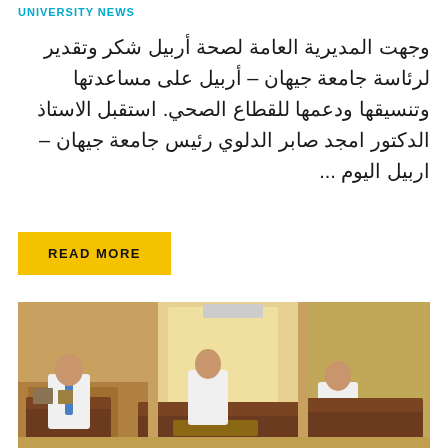UNIVERSITY NEWS
وجهت المديرية العامة لصحة أربيل شكر وتقدير لرئاسة جامعة جيهان – أربيل على مساعدتها وتنسيقها ودعمها للقطاع الصحي. استقبل الاستاذ الدكتور امجد صابر الدلوي رئيس جامعة جيهان – اربيل اليوم ...
READ MORE
[Figure (photo): Three men seated in an office meeting room with brown leather sofas. One man on the left wears a white shirt and blue tie, two men on the right wear white shirts. Office background with curtains and window.]